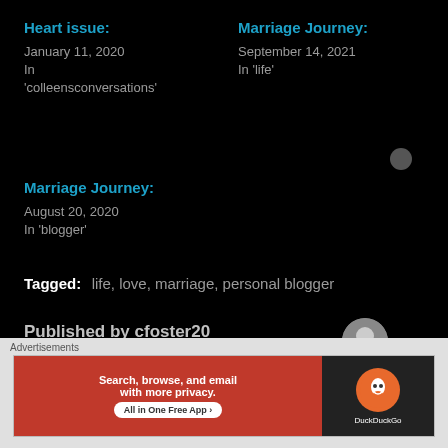Heart issue:
January 11, 2020
In 'colleensconversations'
Marriage Journey:
September 14, 2021
In 'life'
Marriage Journey:
August 20, 2020
In 'blogger'
Tagged:  life, love, marriage, personal blogger
Published by cfoster20
Advertisements
Search, browse, and email with more privacy. All in One Free App  DuckDuckGo